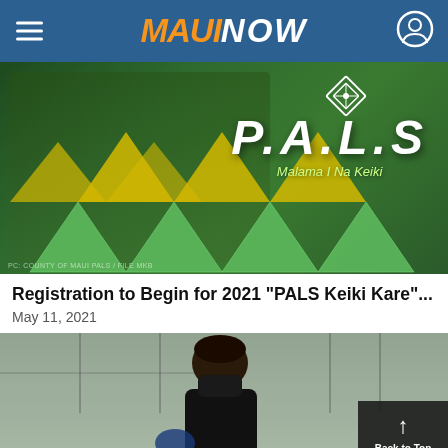MAUI NOW
[Figure (photo): PALS Keiki Kare promotional image showing children seated, with green and yellow triangle design elements. Text reads 'P.A.L.S Malama I Na Keiki' with a decorative diamond logo. Credit: PC: COUNTY OF MAUI PALS/FILE MKB]
Registration to Begin for 2021 "PALS Keiki Kare"...
May 11, 2021
[Figure (photo): Person wearing a black mask and blue gloves, photographed indoors with windows in the background. Back to Top button visible in bottom right corner.]